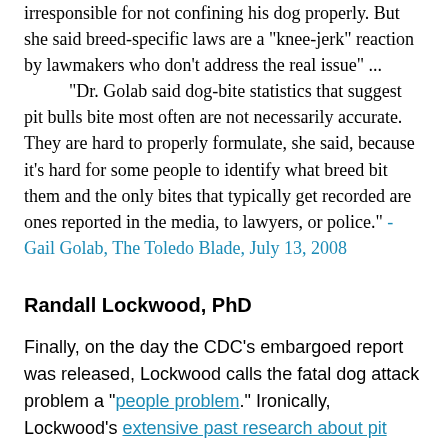irresponsible for not confining his dog properly. But she said breed-specific laws are a "knee-jerk" reaction by lawmakers who don't address the real issue" ... "Dr. Golab said dog-bite statistics that suggest pit bulls bite most often are not necessarily accurate. They are hard to properly formulate, she said, because it's hard for some people to identify what breed bit them and the only bites that typically get recorded are ones reported in the media, to lawyers, or police." - Gail Golab, The Toledo Blade, July 13, 2008
Randall Lockwood, PhD
Finally, on the day the CDC's embargoed report was released, Lockwood calls the fatal dog attack problem a "people problem." Ironically, Lockwood's extensive past research about pit bulls was used